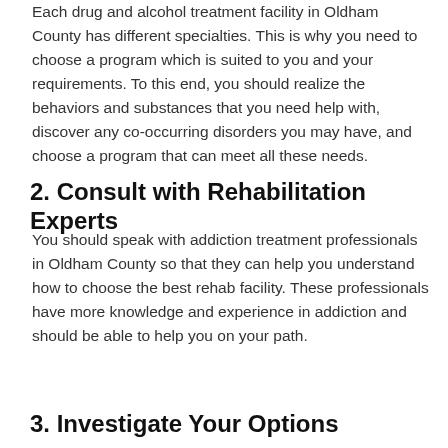Each drug and alcohol treatment facility in Oldham County has different specialties. This is why you need to choose a program which is suited to you and your requirements. To this end, you should realize the behaviors and substances that you need help with, discover any co-occurring disorders you may have, and choose a program that can meet all these needs.
2. Consult with Rehabilitation Experts
You should speak with addiction treatment professionals in Oldham County so that they can help you understand how to choose the best rehab facility. These professionals have more knowledge and experience in addiction and should be able to help you on your path.
3. Investigate Your Options